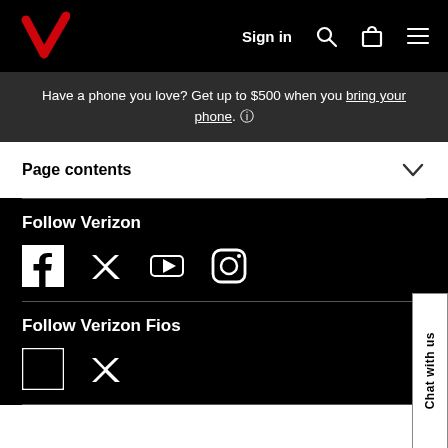Verizon — Sign in [navigation bar with logo, search, cart, menu]
Have a phone you love? Get up to $500 when you bring your phone. ℹ
Page contents
Follow Verizon
[Figure (other): Social media icons: Facebook, Twitter, YouTube, Instagram]
Follow Verizon Fios
[Figure (other): Social media icons: Facebook, Twitter]